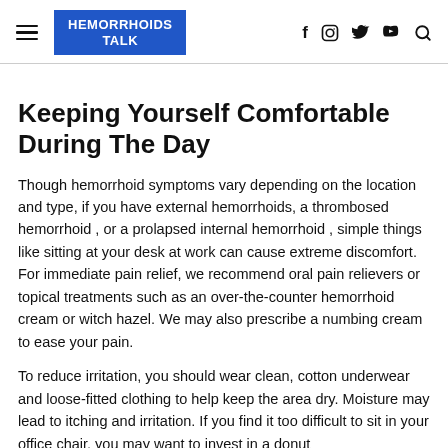HEMORRHOIDS TALK
Keeping Yourself Comfortable During The Day
Though hemorrhoid symptoms vary depending on the location and type, if you have external hemorrhoids, a thrombosed hemorrhoid , or a prolapsed internal hemorrhoid , simple things like sitting at your desk at work can cause extreme discomfort. For immediate pain relief, we recommend oral pain relievers or topical treatments such as an over-the-counter hemorrhoid cream or witch hazel. We may also prescribe a numbing cream to ease your pain.
To reduce irritation, you should wear clean, cotton underwear and loose-fitted clothing to help keep the area dry. Moisture may lead to itching and irritation. If you find it too difficult to sit in your office chair, you may want to invest in a donut